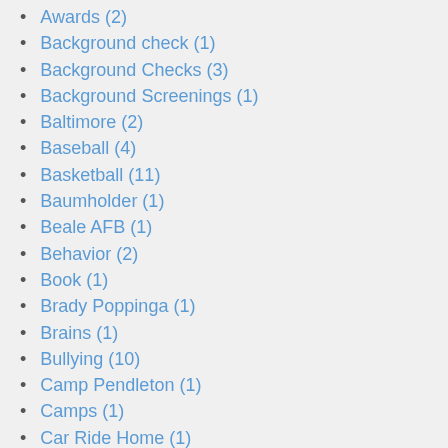Awards (2)
Background check (1)
Background Checks (3)
Background Screenings (1)
Baltimore (2)
Baseball (4)
Basketball (11)
Baumholder (1)
Beale AFB (1)
Behavior (2)
Book (1)
Brady Poppinga (1)
Brains (1)
Bullying (10)
Camp Pendleton (1)
Camps (1)
Car Ride Home (1)
CDC (6)
Certification (1)
Character (4)
Charles Davis (1)
Cheating (1)
Cheerleader Recognition (1)